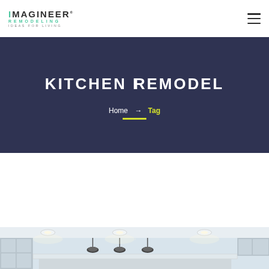IMAGINEER REMODELING IDEAS FOR LIVING
KITCHEN REMODEL
Home → Tag
[Figure (photo): Kitchen interior with pendant lights over an island, modern cabinetry, recessed lighting in ceiling]